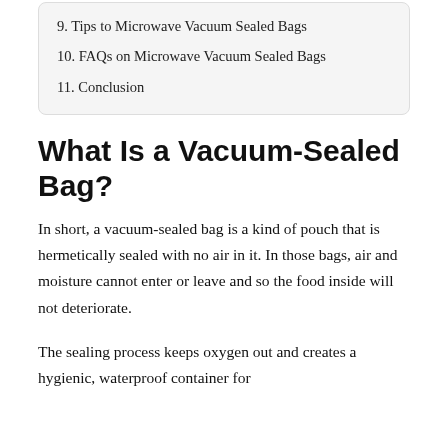9. Tips to Microwave Vacuum Sealed Bags
10. FAQs on Microwave Vacuum Sealed Bags
11. Conclusion
What Is a Vacuum-Sealed Bag?
In short, a vacuum-sealed bag is a kind of pouch that is hermetically sealed with no air in it. In those bags, air and moisture cannot enter or leave and so the food inside will not deteriorate.
The sealing process keeps oxygen out and creates a hygienic, waterproof container for